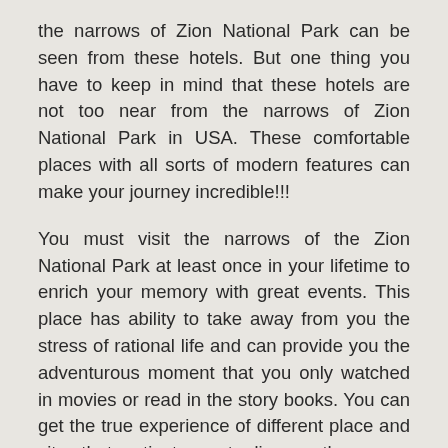the narrows of Zion National Park can be seen from these hotels. But one thing you have to keep in mind that these hotels are not too near from the narrows of Zion National Park in USA. These comfortable places with all sorts of modern features can make your journey incredible!!!
You must visit the narrows of the Zion National Park at least once in your lifetime to enrich your memory with great events. This place has ability to take away from you the stress of rational life and can provide you the adventurous moment that you only watched in movies or read in the story books. You can get the true experience of different place and sites that motivate you to discover the person inside you!!!